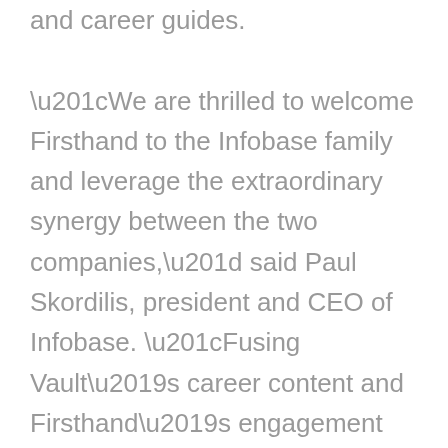and career guides. “We are thrilled to welcome Firsthand to the Infobase family and leverage the extraordinary synergy between the two companies,” said Paul Skordilis, president and CEO of Infobase. “Fusing Vault’s career content and Firsthand’s engagement platform will create a next-generation employer branding and career readiness platform that engages today’s job seekers more mindfully by offering real